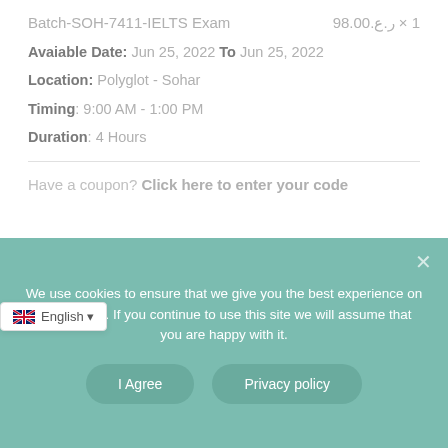Batch-SOH-7411-IELTS Exam   1 × ر.ع.98.00
Available Date: Jun 25, 2022 To Jun 25, 2022
Location: Polyglot - Sohar
Timing: 9:00 AM - 1:00 PM
Duration: 4 Hours
Have a coupon? Click here to enter your code
Subtotal   ر.ع.98.00
We use cookies to ensure that we give you the best experience on our website. If you continue to use this site we will assume that you are happy with it.
I Agree
Privacy policy